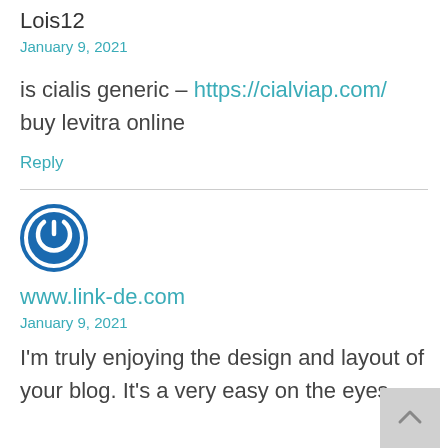Lois12
January 9, 2021
is cialis generic – https://cialviap.com/ buy levitra online
Reply
[Figure (logo): Blue circular power button icon for www.link-de.com]
www.link-de.com
January 9, 2021
I'm truly enjoying the design and layout of your blog. It's a very easy on the eyes